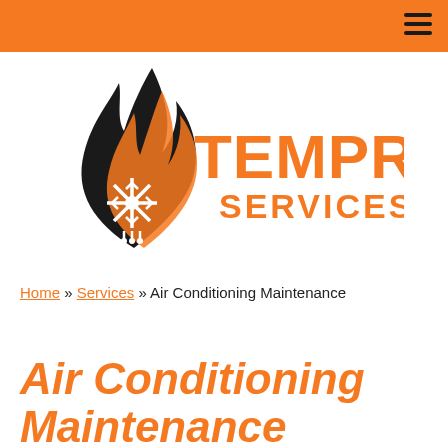[Figure (logo): Tempro Services logo: black flame shape with orange snowflake inside, orange text 'TEMPRO SERVICES']
Home » Services » Air Conditioning Maintenance
Air Conditioning Maintenance